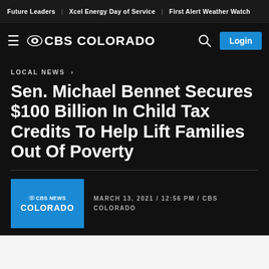Future Leaders | Xcel Energy Day of Service | First Alert Weather Watch
≡ CBS COLORADO  🔍  Login
LOCAL NEWS ›
Sen. Michael Bennet Secures $100 Billion In Child Tax Credits To Help Lift Families Out Of Poverty
MARCH 13, 2021 / 12:56 PM / CBS COLORADO